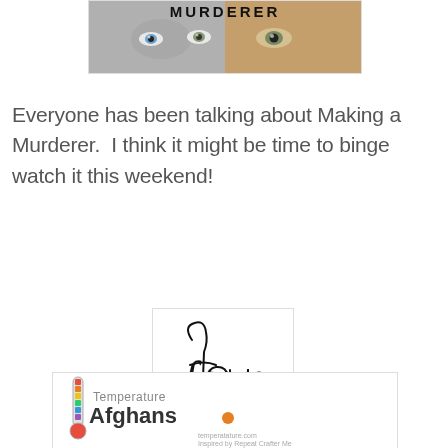[Figure (photo): Book or show cover for 'Making a Murderer' showing two sets of eyes (one young, one older) in black and white / color split, with the text MURDERER visible at top]
Everyone has been talking about Making a Murderer.  I think it might be time to binge watch it this weekend!
[Figure (logo): Decorative script text reading 'four' in cursive/calligraphic style on a white card with light border]
[Figure (logo): Temperature Afghans logo with a thermometer graphic and the text 'Temperature Afghans' and 'temperatature.com Inspired by Repeat Crafter Me']